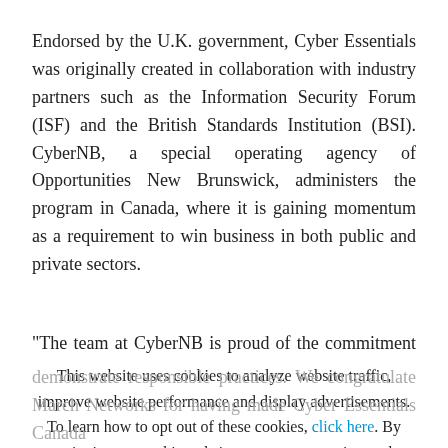Endorsed by the U.K. government, Cyber Essentials was originally created in collaboration with industry partners such as the Information Security Forum (ISF) and the British Standards Institution (BSI). CyberNB, a special operating agency of Opportunities New Brunswick, administers the program in Canada, where it is gaining momentum as a requirement to win business in both public and private sectors.
"The team at CyberNB is proud of the commitment to security and continuous improvement that we've seen...
This website uses cookies to analyze website traffic, improve website performance and display advertisements. To learn how to opt out of these cookies, click here. By continuing to use this website, you are consenting to the use of these cookies.
I AGREE
demonstrate responsible practices. We congratulate March Networks for having made Cyber Essentials Canada...